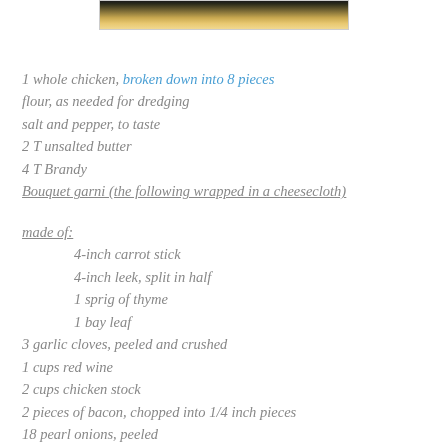[Figure (photo): Top portion of a food photo showing what appears to be pasta or chicken dish with golden/orange coloring]
1 whole chicken, broken down into 8 pieces
flour, as needed for dredging
salt and pepper, to taste
2 T unsalted butter
4 T Brandy
Bouquet garni (the following wrapped in a cheesecloth) made of:
4-inch carrot stick
4-inch leek, split in half
1 sprig of thyme
1 bay leaf
3 garlic cloves, peeled and crushed
1 cups red wine
2 cups chicken stock
2 pieces of bacon, chopped into 1/4 inch pieces
18 pearl onions, peeled
10 button mushrooms, quartered
Season the chicken pieces with salt and pepper